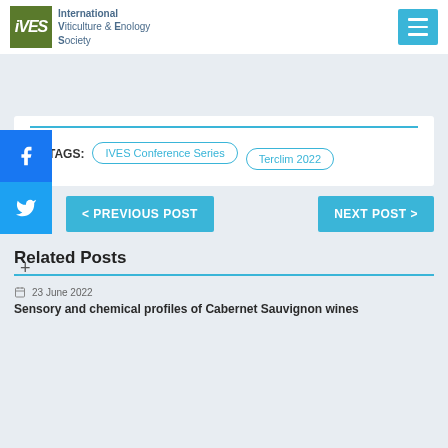IVES — International Viticulture & Enology Society
TAGS: IVES Conference Series, Terclim 2022
< PREVIOUS POST
NEXT POST >
Related Posts
23 June 2022
Sensory and chemical profiles of Cabernet Sauvignon wines